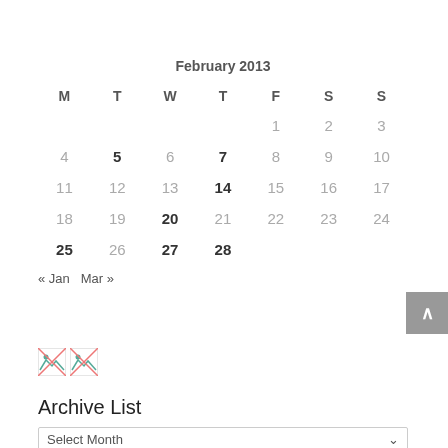| M | T | W | T | F | S | S |
| --- | --- | --- | --- | --- | --- | --- |
|  |  |  |  | 1 | 2 | 3 |
| 4 | 5 | 6 | 7 | 8 | 9 | 10 |
| 11 | 12 | 13 | 14 | 15 | 16 | 17 |
| 18 | 19 | 20 | 21 | 22 | 23 | 24 |
| 25 | 26 | 27 | 28 |  |  |  |
« Jan   Mar »
[Figure (illustration): Two small broken image icons side by side]
Archive List
Select Month